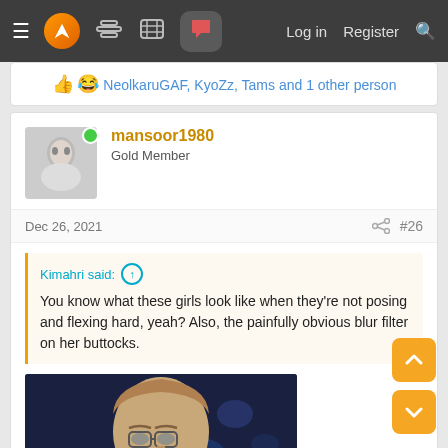Navigation bar with logo, icons, Log in, Register, Search
👍 😂 NeolkaruGAF, KyoZz, Tams and 1 other person
mansoor1980
Gold Member
Dec 26, 2021  #26
Kimahri said: ↑
You know what these girls look like when they're not posing and flexing hard, yeah? Also, the painfully obvious blur filter on her buttocks.
[Figure (photo): Photo of a middle-aged man with glasses and gray-brown hair against a dark blue background]